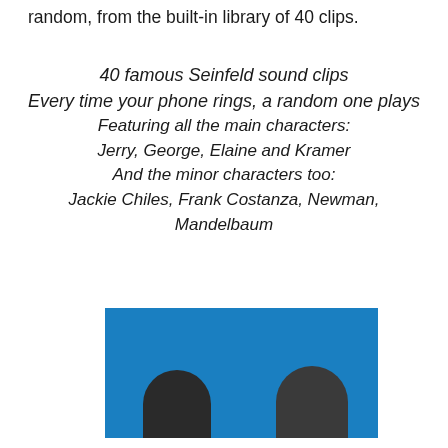random, from the built-in library of 40 clips.
40 famous Seinfeld sound clips
Every time your phone rings, a random one plays
Featuring all the main characters:
Jerry, George, Elaine and Kramer
And the minor characters too:
Jackie Chiles, Frank Costanza, Newman, Mandelbaum
[Figure (photo): Two people's heads visible at bottom of a blue background image, partially cropped]